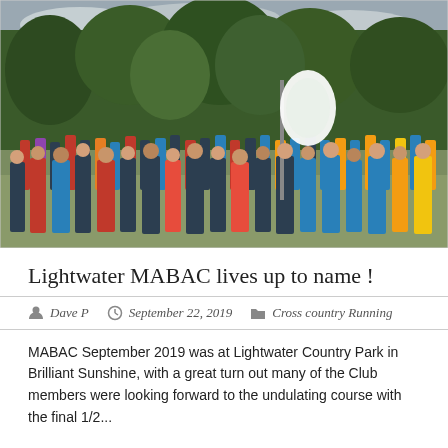[Figure (photo): A large group of runners and participants gathered on grassy ground at Lightwater Country Park, with dense green trees in the background and a tall white branded banner/flag visible among the crowd. People are wearing running attire in various colours including red, blue, black, and yellow.]
Lightwater MABAC lives up to name !
Dave P   September 22, 2019   Cross country Running
MABAC September 2019 was at Lightwater Country Park in Brilliant Sunshine, with a great turn out many of the Club members were looking forward to the undulating course with the final 1/2...